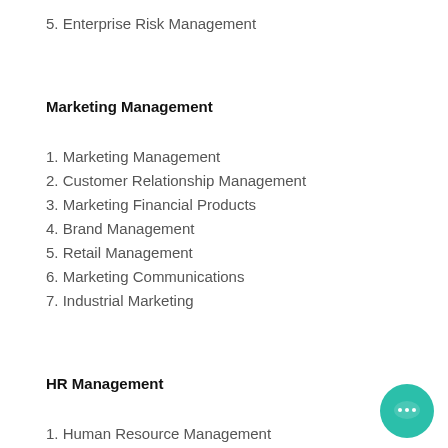5. Enterprise Risk Management
Marketing Management
1. Marketing Management
2. Customer Relationship Management
3. Marketing Financial Products
4. Brand Management
5. Retail Management
6. Marketing Communications
7. Industrial Marketing
HR Management
1. Human Resource Management